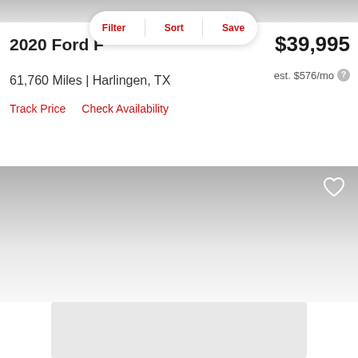[Figure (photo): Top portion of a car listing photo, cropped]
2020 Ford F
$39,995
61,760 Miles | Harlingen, TX
est. $576/mo
Track Price   Check Availability
[Figure (photo): Second car listing photo area with gradient, heart/save icon visible]
[Figure (photo): Bottom placeholder image area, light gray]